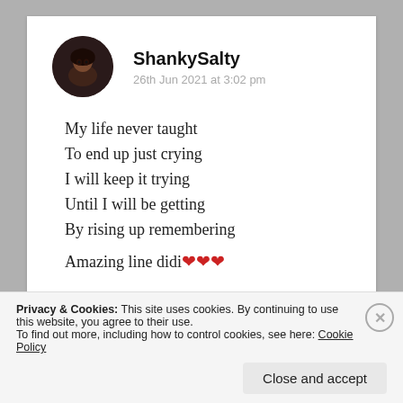[Figure (photo): Circular avatar photo of a person with dark hair]
ShankySalty
26th Jun 2021 at 3:02 pm
My life never taught
To end up just crying
I will keep it trying
Until I will be getting
By rising up remembering

Amazing line didi❤❤❤
Privacy & Cookies: This site uses cookies. By continuing to use this website, you agree to their use.
To find out more, including how to control cookies, see here: Cookie Policy
Close and accept